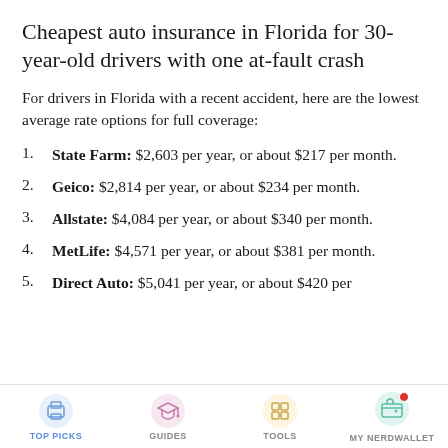Cheapest auto insurance in Florida for 30-year-old drivers with one at-fault crash
For drivers in Florida with a recent accident, here are the lowest average rate options for full coverage:
State Farm: $2,603 per year, or about $217 per month.
Geico: $2,814 per year, or about $234 per month.
Allstate: $4,084 per year, or about $340 per month.
MetLife: $4,571 per year, or about $381 per month.
Direct Auto: $5,041 per year, or about $420 per
TOP PICKS | GUIDES | TOOLS | MY NERDWALLET